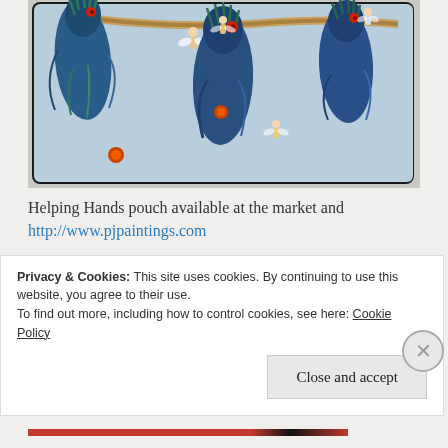[Figure (photo): A needlepoint/tapestry pouch featuring decorative birds (emus or cassowaries) with red eyes and blue feathers, small fairy/angel figures, and a branch motif on a light blue background. The pouch has a dark border and is photographed on a gray surface.]
Helping Hands pouch available at the market and http://www.pjpaintings.com
Another lady bought a "Salamanca Saturdays" and "Salamanca Fresh" cushion covers to post to the
Privacy & Cookies: This site uses cookies. By continuing to use this website, you agree to their use.
To find out more, including how to control cookies, see here: Cookie Policy
Close and accept